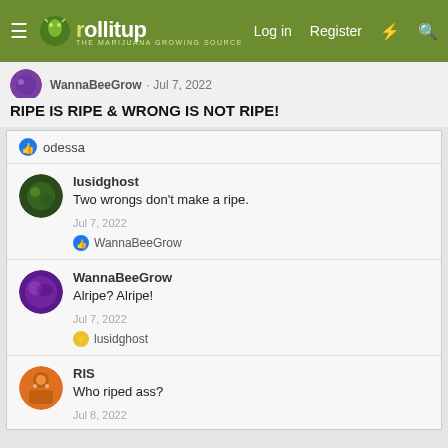rollitup.org — Log in  Register
WannaBeeGrow · Jul 7, 2022
RIPE IS RIPE & WRONG IS NOT RIPE!
👍 odessa
lusidghost
Two wrongs don't make a ripe.
Jul 7, 2022
👍 WannaBeeGrow
WannaBeeGrow
Alripe? Alripe!
Jul 7, 2022
⚡ lusidghost
RIS
Who riped ass?
Jul 8, 2022